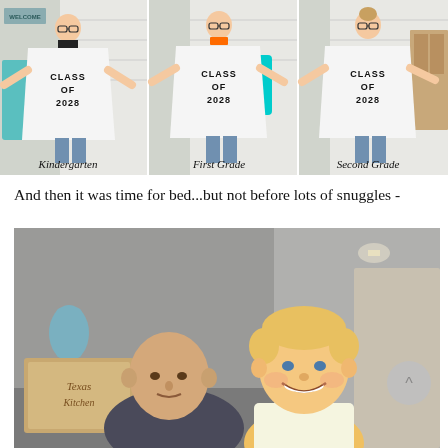[Figure (photo): Three-panel collage of a young boy wearing oversized white 'CLASS OF 2028' t-shirts, one photo per grade: Kindergarten, First Grade, Second Grade. Each photo shows the boy outdoors in front of a house, arms spread wide.]
And then it was time for bed...but not before lots of snuggles -
[Figure (photo): Indoor photo of a man (father, bald) and a young blonde boy smiling together in a kitchen/living room area. Various home décor visible in background including a light fixture and wooden sign.]